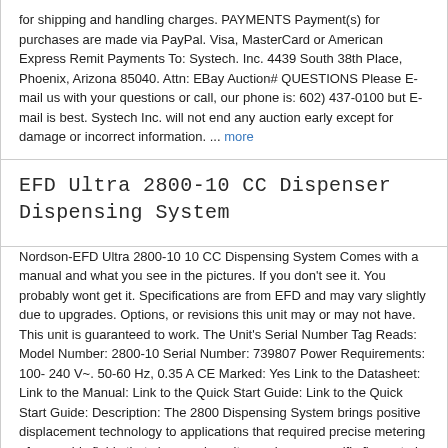for shipping and handling charges. PAYMENTS Payment(s) for purchases are made via PayPal. Visa, MasterCard or American Express Remit Payments To: Systech. Inc. 4439 South 38th Place, Phoenix, Arizona 85040. Attn: EBay Auction# QUESTIONS Please E-mail us with your questions or call, our phone is: 602) 437-0100 but E-mail is best. Systech Inc. will not end any auction early except for damage or incorrect information. ... more
EFD Ultra 2800-10 CC Dispenser Dispensing System
Nordson-EFD Ultra 2800-10 10 CC Dispensing System Comes with a manual and what you see in the pictures. If you don't see it. You probably wont get it. Specifications are from EFD and may vary slightly due to upgrades. Options, or revisions this unit may or may not have. This unit is guaranteed to work. The Unit's Serial Number Tag Reads: Model Number: 2800-10 Serial Number: 739807 Power Requirements: 100- 240 V~. 50-60 Hz, 0.35 A CE Marked: Yes Link to the Datasheet: Link to the Manual: Link to the Quick Start Guide: Link to the Quick Start Guide: Description: The 2800 Dispensing System brings positive displacement technology to applications that required precise metering of assembly fluids that change viscosity or where a specific flow rate is necessary. Unique patented technology within the system uses a flexible drive cable drive ... more
CSC 797-4145-000-04 797-4145-00004 00797-4145-001-01
CSC 797-4145-000-04 797-4145-00004 00797-4145-001-01 BOARD IS